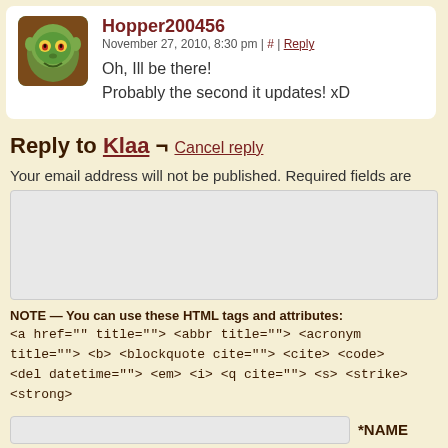Hopper200456
November 27, 2010, 8:30 pm | # | Reply
Oh, Ill be there!
Probably the second it updates! xD
Reply to Klaa ¬ Cancel reply
Your email address will not be published. Required fields are
NOTE — You can use these HTML tags and attributes:
<a href="" title=""> <abbr title=""> <acronym title=""> <b> <blockquote cite=""> <cite> <code> <del datetime=""> <em> <i> <q cite=""> <s> <strike> <strong>
*NAME
*EMAIL – Ge